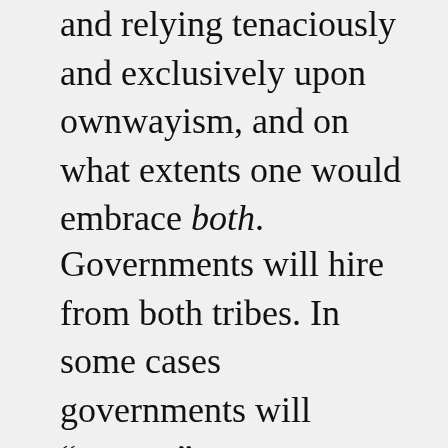and relying tenaciously and exclusively upon ownwayism, and on what extents one would embrace both.
Governments will hire from both tribes. In some cases governments will “spawn,” even transition and transform, governists and ownwayists such that some individuals re-set, and even switch, tribal affiliations. In the long run, however, any given